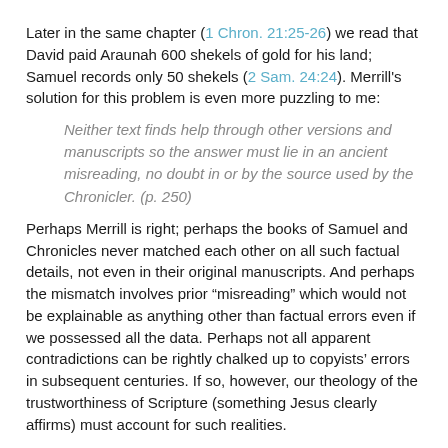Later in the same chapter (1 Chron. 21:25-26) we read that David paid Araunah 600 shekels of gold for his land; Samuel records only 50 shekels (2 Sam. 24:24). Merrill's solution for this problem is even more puzzling to me:
Neither text finds help through other versions and manuscripts so the answer must lie in an ancient misreading, no doubt in or by the source used by the Chronicler. (p. 250)
Perhaps Merrill is right; perhaps the books of Samuel and Chronicles never matched each other on all such factual details, not even in their original manuscripts. And perhaps the mismatch involves prior “misreading” which would not be explainable as anything other than factual errors even if we possessed all the data. Perhaps not all apparent contradictions can be rightly chalked up to copyists’ errors in subsequent centuries. If so, however, our theology of the trustworthiness of Scripture (something Jesus clearly affirms) must account for such realities.